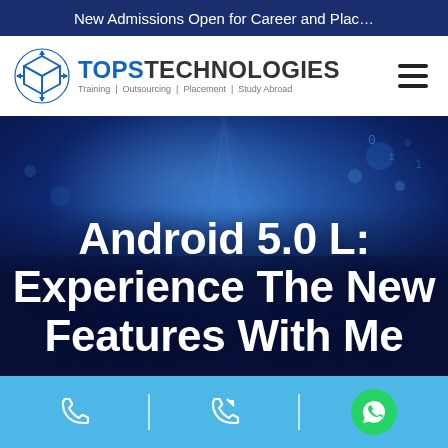New Admissions Open for Career and Placement
[Figure (logo): TOPS Technologies logo with cube icon, text reading TOPS TECHNOLOGIES, tagline: Training | Outsourcing | Placement | Study Abroad]
Android 5.0 L: Experience The New Features With Me
[Figure (infographic): Bottom contact bar with phone icon, callback icon, and WhatsApp green button, separated by vertical dividers, on a light blue background]